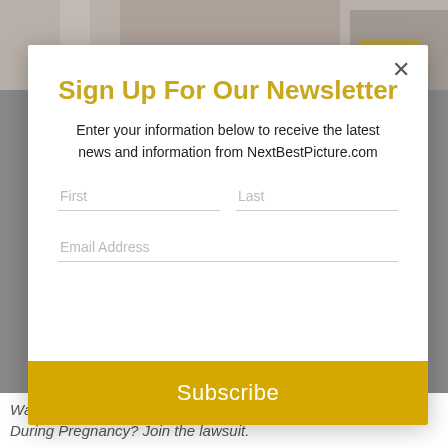[Figure (photo): Background photo showing a person in work clothes, partially visible behind a modal dialog]
Sign Up For Our Newsletter
Enter your information below to receive the latest news and information from NextBestPicture.com
First | Last | Email Address | Subscribe
Was Your Child Diagnosed with Autism? Did you use Tylenol During Pregnancy? Join the lawsuit.